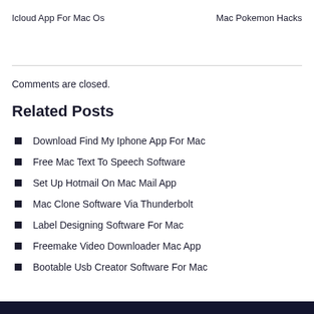Icloud App For Mac Os
Mac Pokemon Hacks
Comments are closed.
Related Posts
Download Find My Iphone App For Mac
Free Mac Text To Speech Software
Set Up Hotmail On Mac Mail App
Mac Clone Software Via Thunderbolt
Label Designing Software For Mac
Freemake Video Downloader Mac App
Bootable Usb Creator Software For Mac